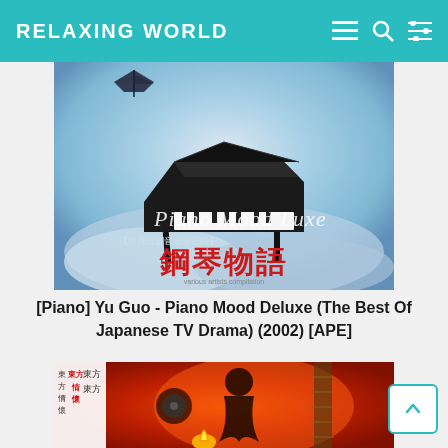RELAXING WORLD
[Figure (photo): Album cover for Piano Mood Deluxe showing a grand piano floating in a blue cloudy sky with Chinese characters and cursive text reading 'Piano Mood Luxe' and Chinese title 鋼琴物語]
[Piano] Yu Guo - Piano Mood Deluxe (The Best Of Japanese TV Drama) (2002) [APE]
[Figure (photo): Album cover with red/orange background showing silhouette of a person with a guitar, candle flame, and Chinese vertical text including 東方情懷]